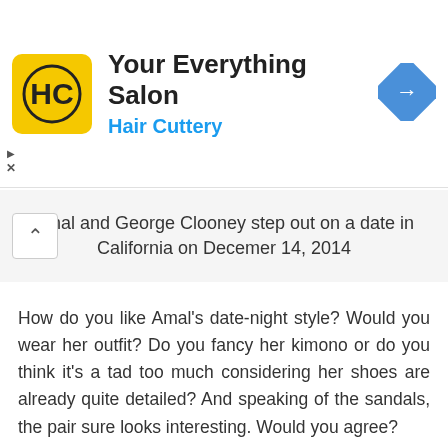[Figure (logo): Hair Cuttery advertisement banner with yellow HC logo, text 'Your Everything Salon' and 'Hair Cuttery' in blue, and a blue diamond direction arrow icon]
Amal and George Clooney step out on a date in California on December 14, 2014
How do you like Amal's date-night style? Would you wear her outfit? Do you fancy her kimono or do you think it's a tad too much considering her shoes are already quite detailed? And speaking of the sandals, the pair sure looks interesting. Would you agree?
I couldn't find any information on the shoes online, but I'm quite sure they're from an expensive designer label. In fact, they remind me of Sergio Rossi's Mermaid sandals, except, the cutouts on Amal's shoes are more floral in design rather than fish-scale-like.